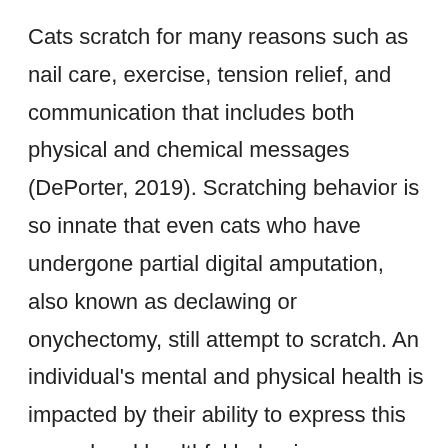Cats scratch for many reasons such as nail care, exercise, tension relief, and communication that includes both physical and chemical messages (DePorter, 2019). Scratching behavior is so innate that even cats who have undergone partial digital amputation, also known as declawing or onychectomy, still attempt to scratch. An individual's mental and physical health is impacted by their ability to express this normal and healthful behavior. Unfortunately, cats may target items that their owners are unhappy with them scratching. Damage to property often results in damage to the human-animal bond if not addressed. Pet owners can become frustrated by scratching behavior, resorting